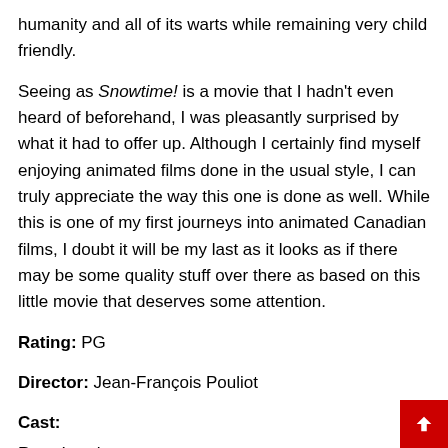humanity and all of its warts while remaining very child friendly.
Seeing as Snowtime! is a movie that I hadn't even heard of beforehand, I was pleasantly surprised by what it had to offer up. Although I certainly find myself enjoying animated films done in the usual style, I can truly appreciate the way this one is done as well. While this is one of my first journeys into animated Canadian films, I doubt it will be my last as it looks as if there may be some quality stuff over there as based on this little movie that deserves some attention.
Rating: PG
Director: Jean-François Pouliot
Cast:
Ross Lynch